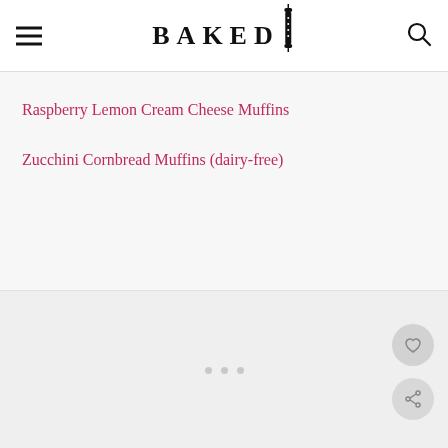BAKED
Raspberry Lemon Cream Cheese Muffins
Zucchini Cornbread Muffins (dairy-free)